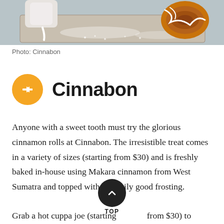[Figure (photo): Close-up photo of cinnamon rolls with white frosting drizzle on a tray, from Cinnabon]
Photo: Cinnabon
Cinnabon
Anyone with a sweet tooth must try the glorious cinnamon rolls at Cinnabon. The irresistible treat comes in a variety of sizes (starting from $30) and is freshly baked in-house using Makara cinnamon from West Sumatra and topped with a guiltily good frosting.
Grab a hot cuppa joe (starting from $30) to balance the sweetness, or go all out and order the signature add-ons in a combo deal ($48). Finding something this